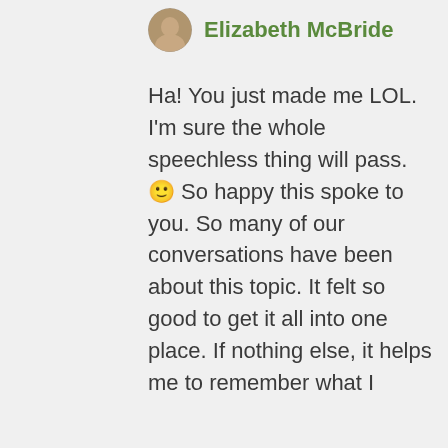[Figure (photo): Circular avatar photo of Elizabeth McBride]
Elizabeth McBride
Ha! You just made me LOL. I'm sure the whole speechless thing will pass. 🙂 So happy this spoke to you. So many of our conversations have been about this topic. It felt so good to get it all into one place. If nothing else, it helps me to remember what I